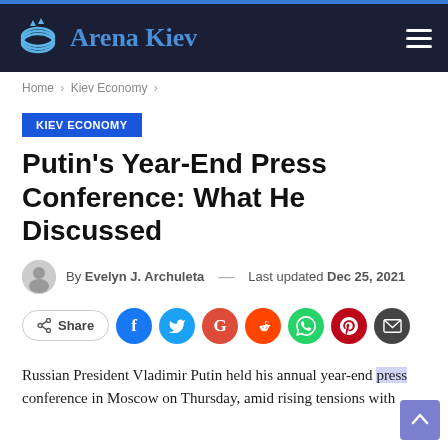Arena Kiev
Home > Kiev Economy >
KIEV ECONOMY
Putin's Year-End Press Conference: What He Discussed
By Evelyn J. Archuleta — Last updated Dec 25, 2021
Share
Russian President Vladimir Putin held his annual year-end press conference in Moscow on Thursday, amid rising tensions with